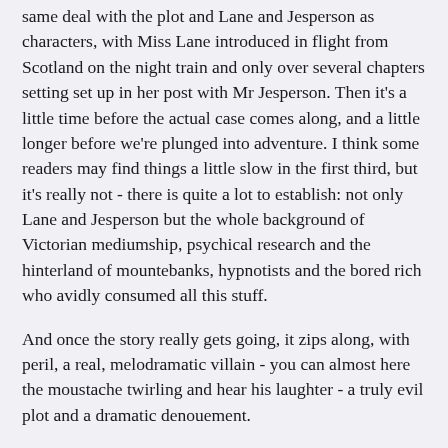same deal with the plot and Lane and Jesperson as characters, with Miss Lane introduced in flight from Scotland on the night train and only over several chapters setting set up in her post with Mr Jesperson. Then it's a little time before the actual case comes along, and a little longer before we're plunged into adventure. I think some readers may find things a little slow in the first third, but it's really not - there is quite a lot to establish: not only Lane and Jesperson but the whole background of Victorian mediumship, psychical research and the hinterland of mountebanks, hypnotists and the bored rich who avidly consumed all this stuff.
And once the story really gets going, it zips along, with peril, a real, melodramatic villain - you can almost here the moustache twirling and hear his laughter - a truly evil plot and a dramatic denouement.
The Curious Affair of the Somnambulist and the Psychic Thief is a genuinely refreshing book, not so much steampunk as psychicpunk, introducing two strong and intriguing central characters who could - despite everything I said at the start - easily give Holmes and Watson a run for their money. And at the very end Tuttle drops us right into the next adventure, so I'm hopeful there